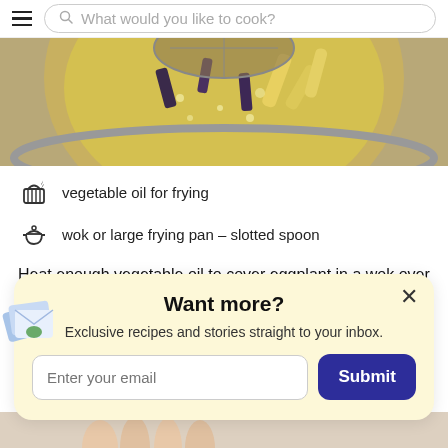What would you like to cook?
[Figure (photo): A wok or pan with food frying in oil, viewed from above, showing eggplant and other vegetables bubbling in hot oil]
vegetable oil for frying
wok or large frying pan – slotted spoon
Heat enough vegetable oil to cover eggplant in a wok over
Want more?
Exclusive recipes and stories straight to your inbox.
Enter your email
Submit
[Figure (photo): Partial bottom image showing hands or food preparation]